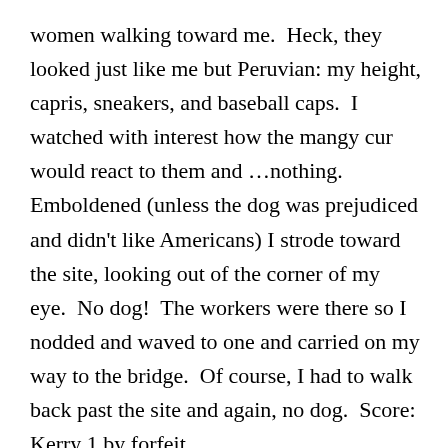women walking toward me.  Heck, they looked just like me but Peruvian: my height, capris, sneakers, and baseball caps.  I watched with interest how the mangy cur would react to them and …nothing.   Emboldened (unless the dog was prejudiced and didn't like Americans) I strode toward the site, looking out of the corner of my eye.  No dog!  The workers were there so I nodded and waved to one and carried on my way to the bridge.  Of course, I had to walk back past the site and again, no dog.  Score: Kerry 1 by forfeit.
So it is now week 4 and I have yet to get in my bike path walk.  I have time… and rocks!